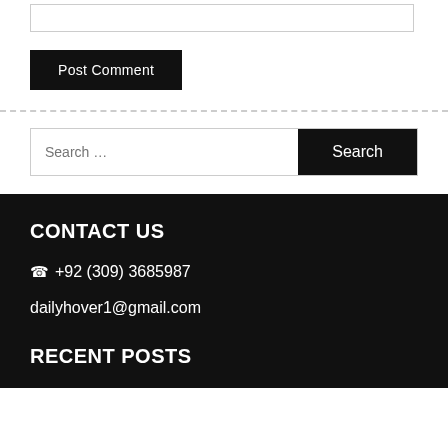[input box]
Post Comment
Search ...
CONTACT US
☎ +92 (309) 3685987
dailyhover1@gmail.com
RECENT POSTS